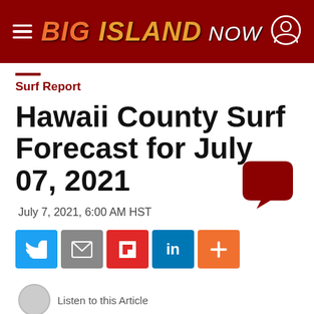Big Island Now
Surf Report
Hawaii County Surf Forecast for July 07, 2021
July 7, 2021, 6:00 AM HST